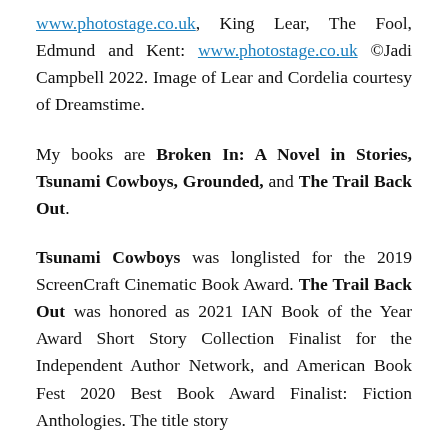www.photostage.co.uk, King Lear, The Fool, Edmund and Kent: www.photostage.co.uk ©Jadi Campbell 2022. Image of Lear and Cordelia courtesy of Dreamstime.
My books are Broken In: A Novel in Stories, Tsunami Cowboys, Grounded, and The Trail Back Out.
Tsunami Cowboys was longlisted for the 2019 ScreenCraft Cinematic Book Award. The Trail Back Out was honored as 2021 IAN Book of the Year Award Short Story Collection Finalist for the Independent Author Network, and American Book Fest 2020 Best Book Award Finalist: Fiction Anthologies. The title story